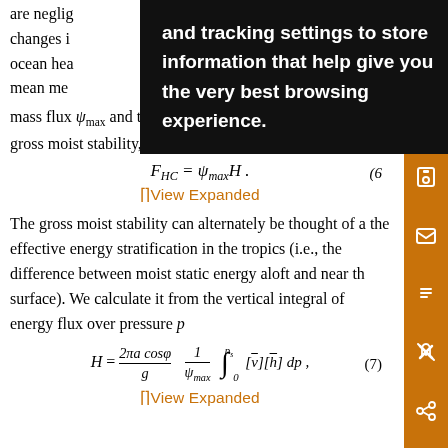are neglig ... sents
changes i ... ell as
ocean hea ... e
mean me ... r cel
mass flux ψ_max and the energy flux per unit mass flux, gross moist stability, H (Fig. 2):
View Expanded
The gross moist stability can alternately be thought of as the effective energy stratification in the tropics (i.e., the difference between moist static energy aloft and near the surface). We calculate it from the vertical integral of energy flux over pressure p
View Expanded